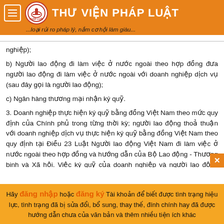THƯ VIỆN PHÁP LUẬT ...loại rủi ro pháp lý, nắm cơ hội làm giàu...
nghiệp);
b) Người lao động đi làm việc ở nước ngoài theo hợp đồng đưa người lao động đi làm việc ở nước ngoài với doanh nghiệp dịch vụ (sau đây gọi là người lao động);
c) Ngân hàng thương mại nhận ký quỹ.
3. Doanh nghiệp thực hiện ký quỹ bằng đồng Việt Nam theo mức quy định của Chính phủ trong từng thời kỳ; người lao động thoả thuận với doanh nghiệp dịch vụ thực hiện ký quỹ bằng đồng Việt Nam theo quy định tại Điều 23 Luật Người lao động Việt Nam đi làm việc ở nước ngoài theo hợp đồng và hướng dẫn của Bộ Lao động - Thương binh và Xã hội. Việc ký quỹ của doanh nghiệp và người lao động thực hiện tại ngân hàng thương mại được phép hoạt động tại Việt Nam, nơi doanh nghiệp đóng trụ sở chính.
Hãy đăng nhập hoặc đăng ký Tài khoản để biết được tình trạng hiệu lực, tình trạng đã bị sửa đổi, bổ sung, thay thế, đính chính hay đã được hướng dẫn chưa của văn bản và thêm nhiều tiện ích khác